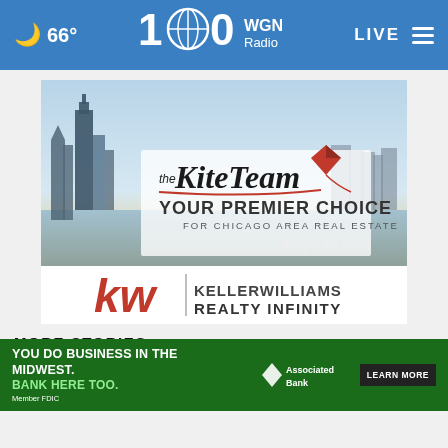66° WGN Radio 100 LIVE
[Figure (advertisement): The Kite Team - Your Premier Choice for Chicago Area Real Estate - AmyKite.com, with Chicago skyline background]
[Figure (logo): Keller Williams Realty Infinity logo with red KW letters]
MORE STORIES ›
[Figure (advertisement): Associated Bank banner: YOU DO BUSINESS IN THE MIDWEST. BANK HERE TOO. Member FDIC. LEARN MORE button.]